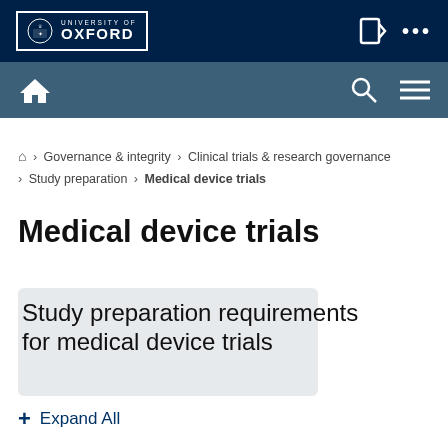[Figure (logo): University of Oxford logo with shield crest and text in white on dark navy background with border]
University of Oxford website header with navigation bar including home, search and menu icons
Home > Governance & integrity > Clinical trials & research governance > Study preparation > Medical device trials
Medical device trials
Study preparation requirements for medical device trials
+ Expand All